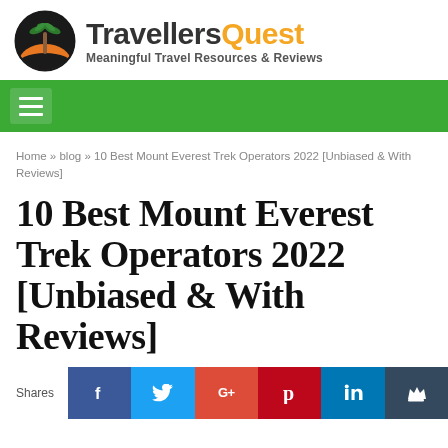[Figure (logo): TravellersQuest logo with palm tree circle icon and text 'TravellersQuest — Meaningful Travel Resources & Reviews']
[Figure (infographic): Green navigation bar with hamburger menu icon]
Home » blog » 10 Best Mount Everest Trek Operators 2022 [Unbiased & With Reviews]
10 Best Mount Everest Trek Operators 2022 [Unbiased & With Reviews]
Shares
[Figure (infographic): Social share buttons row: Facebook (blue), Twitter (light blue), Google+ (red-orange), Pinterest (dark red), LinkedIn (blue), Crown/bookmark (dark)]